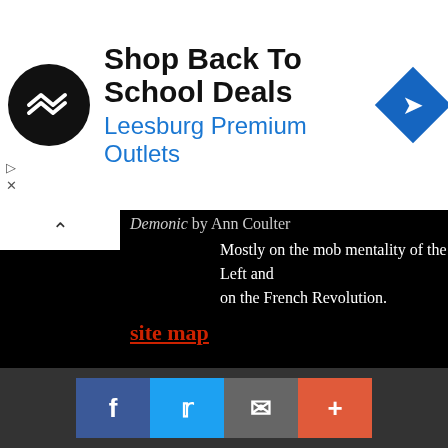[Figure (other): Advertisement banner: Shop Back To School Deals - Leesburg Premium Outlets with logo and arrow icon]
Demonic by Ann Coulter
Mostly on the mob mentality of the Left and on the French Revolution.
site map
end notes
1. There is a confusion abroad that socialism is some special rela wealth transfers. This could not be more false. Transfers of we into the mists of the past. Every major religion has ideas and m of charity and altruism. Shades of these behaviours can be seen
[Figure (other): Social sharing buttons bar: Facebook, Twitter, Email, More]